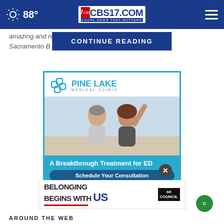88° CBS17.COM LOCAL NEWS THAT MATTERS
amazing and r… son told the Sacramento B…
CONTINUE READING
[Figure (advertisement): Pine Lake Medical Clinic advertisement showing couple, text: A Breakthrough Treatment for ED, Schedule Your Consultation]
[Figure (advertisement): Ad Council ad: BELONGING BEGINS WITH US]
AROUND THE WEB